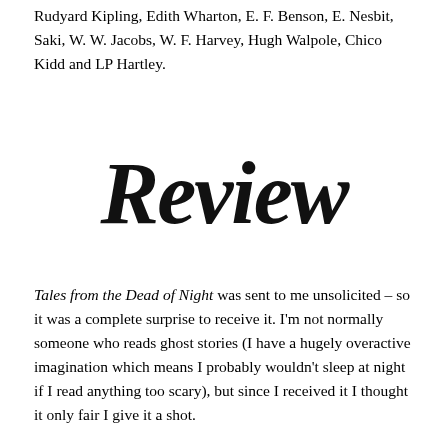Rudyard Kipling, Edith Wharton, E. F. Benson, E. Nesbit, Saki, W. W. Jacobs, W. F. Harvey, Hugh Walpole, Chico Kidd and LP Hartley.
Review
Tales from the Dead of Night was sent to me unsolicited – so it was a complete surprise to receive it. I'm not normally someone who reads ghost stories (I have a hugely overactive imagination which means I probably wouldn't sleep at night if I read anything too scary), but since I received it I thought it only fair I give it a shot.